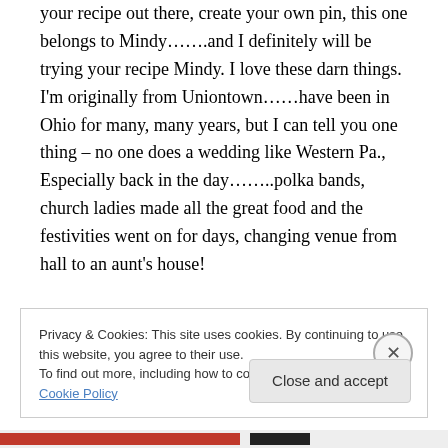your recipe out there, create your own pin, this one belongs to Mindy…….and I definitely will be trying your recipe Mindy. I love these darn things. I'm originally from Uniontown……have been in Ohio for many, many years, but I can tell you one thing – no one does a wedding like Western Pa., Especially back in the day……..polka bands, church ladies made all the great food and the festivities went on for days, changing venue from hall to an aunt's house!
Privacy & Cookies: This site uses cookies. By continuing to use this website, you agree to their use.
To find out more, including how to control cookies, see here: Cookie Policy